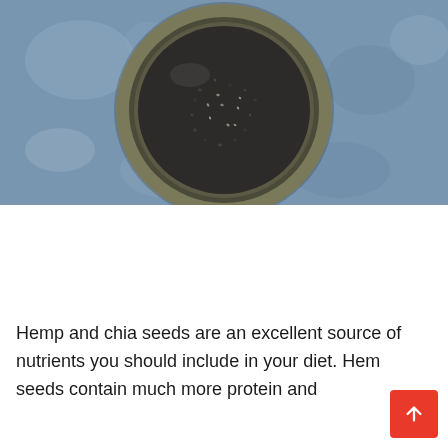[Figure (photo): Overhead view of a ceramic bowl filled with dark chia seeds on a blue-grey textured surface]
Hemp and chia seeds are an excellent source of nutrients you should include in your diet. Hemp seeds contain much more protein and